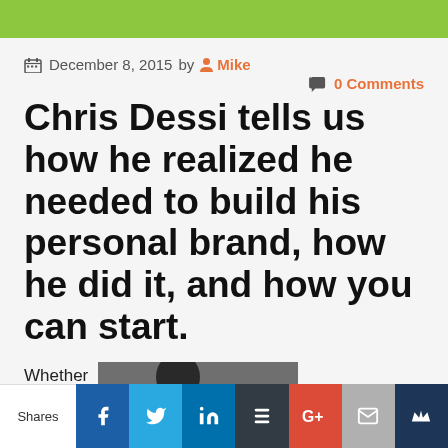December 8, 2015 by Mike  0 Comments
Chris Dessi tells us how he realized he needed to build his personal brand, how he did it, and how you can start.
Whether
[Figure (photo): Person photo, partially visible]
Shares | Facebook | Twitter | LinkedIn | Buffer | Google+ | Email | Crown